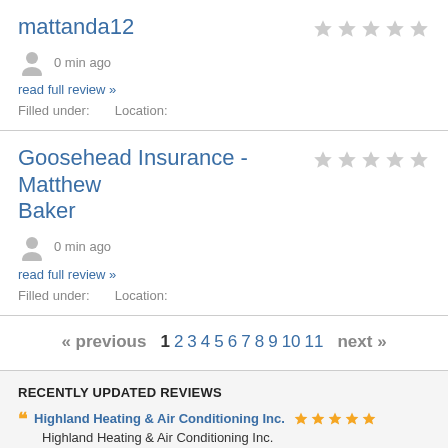mattanda12
0 min ago
read full review »
Filled under:   Location:
Goosehead Insurance - Matthew Baker
0 min ago
read full review »
Filled under:   Location:
« previous  1 2 3 4 5 6 7 8 9 10 11  next »
RECENTLY UPDATED REVIEWS
Highland Heating & Air Conditioning Inc. ★★★★★
Highland Heating & Air Conditioning Inc.
Ultra Liquid Labs ★★★★★
Ultra Liquid Labs
Heard Merman Accident & Injury Trial Lawyers ★★★★☆